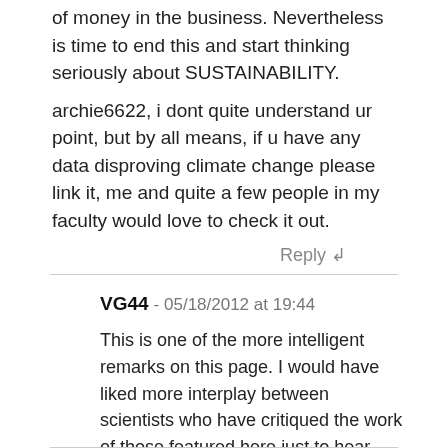of money in the business. Nevertheless is time to end this and start thinking seriously about SUSTAINABILITY.
archie6622, i dont quite understand ur point, but by all means, if u have any data disproving climate change please link it, me and quite a few people in my faculty would love to check it out.
Reply ↲
VG44 - 05/18/2012 at 19:44
This is one of the more intelligent remarks on this page. I would have liked more interplay between scientists who have critiqued the work of those featured here just to hear what they have to say. I think there is more to our current relationship to climate change than what we typically get. I'm particularly interested in ice ages and how those have affected human populations in the past.